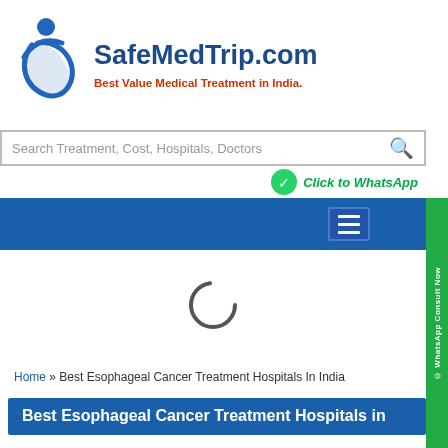[Figure (logo): SafeMedTrip.com logo with blue stylized figure and swoosh mark]
SafeMedTrip.com
Best Value Medical Treatment in India.
Search Treatment, Cost, Hospitals, Doctors
[Figure (other): WhatsApp icon with Click to WhatsApp text]
[Figure (other): Navigation bar with hamburger menu icon and green WhatsApp Consult Now side tab]
[Figure (other): Loading spinner (circular arc) in white area]
Home » Best Esophageal Cancer Treatment Hospitals In India
Best Esophageal Cancer Treatment Hospitals in